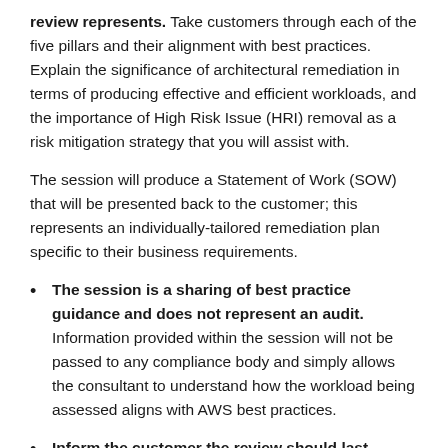review represents. Take customers through each of the five pillars and their alignment with best practices. Explain the significance of architectural remediation in terms of producing effective and efficient workloads, and the importance of High Risk Issue (HRI) removal as a risk mitigation strategy that you will assist with.
The session will produce a Statement of Work (SOW) that will be presented back to the customer; this represents an individually-tailored remediation plan specific to their business requirements.
The session is a sharing of best practice guidance and does not represent an audit. Information provided within the session will not be passed to any compliance body and simply allows the consultant to understand how the workload being assessed aligns with AWS best practices.
Inform the customer the review should last between 3-4 hours and is split into multiple pillars. Each pillar can